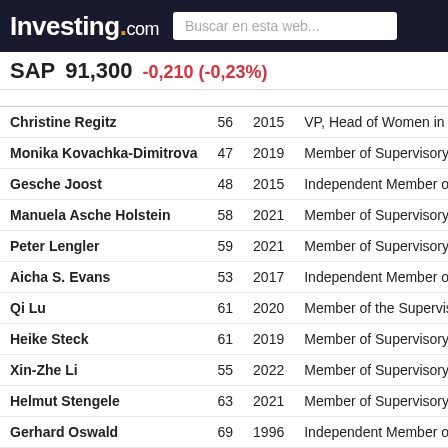Investing.com | Buscar en esta web...
SAP 91,300 -0,210 (-0,23%)
| Name | Age | Since | Role |
| --- | --- | --- | --- |
| Christine Regitz | 56 | 2015 | VP, Head of Women in Tech & Mem |
| Monika Kovachka-Dimitrova | 47 | 2019 | Member of Supervisory Board & Chi |
| Gesche Joost | 48 | 2015 | Independent Member of Supervisory |
| Manuela Asche Holstein | 58 | 2021 | Member of Supervisory Board |
| Peter Lengler | 59 | 2021 | Member of Supervisory Board & Val |
| Aicha S. Evans | 53 | 2017 | Independent Member of Supervisory |
| Qi Lu | 61 | 2020 | Member of the Supervisory Board |
| Heike Steck | 61 | 2019 | Member of Supervisory Board & Ser |
| Xin-Zhe Li | 55 | 2022 | Member of Supervisory Board |
| Helmut Stengele | 63 | 2021 | Member of Supervisory Board |
| Gerhard Oswald | 69 | 1996 | Independent Member of Supervisory |
| James Wright | 60 | 2019 | Member of Supervisory Board and C |
Debates sobre SAPG